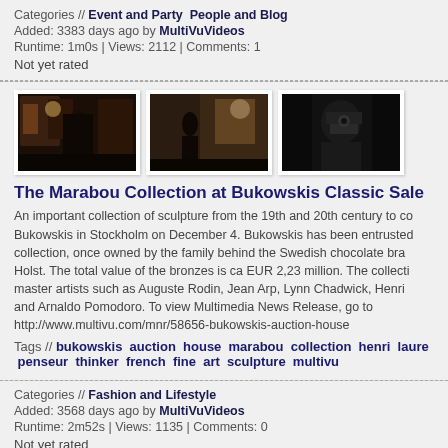Categories // Event and Party  People and Blog
Added: 3383 days ago by MultiVuVideos
Runtime: 1m0s | Views: 2112 | Comments: 1
Not yet rated
[Figure (photo): Three video thumbnails showing indoor scenes with people at an event]
The Marabou Collection at Bukowskis Classic Sale
An important collection of sculpture from the 19th and 20th century to co... Bukowskis in Stockholm on December 4. Bukowskis has been entrusted... collection, once owned by the family behind the Swedish chocolate bra... Holst. The total value of the bronzes is ca EUR 2,23 million. The collecti... master artists such as Auguste Rodin, Jean Arp, Lynn Chadwick, Henri ... and Arnaldo Pomodoro. To view Multimedia News Release, go to http://www.multivu.com/mnr/58656-bukowskis-auction-house
Tags // bukowskis auction house marabou collection henri laure... penseur thinker french fine art sculpture multivu
Categories // Fashion and Lifestyle
Added: 3568 days ago by MultiVuVideos
Runtime: 2m52s | Views: 1135 | Comments: 0
Not yet rated
[Figure (photo): Three video thumbnails at bottom: left=sepia portrait, middle=LOVE text card, right=LAUGH text card]